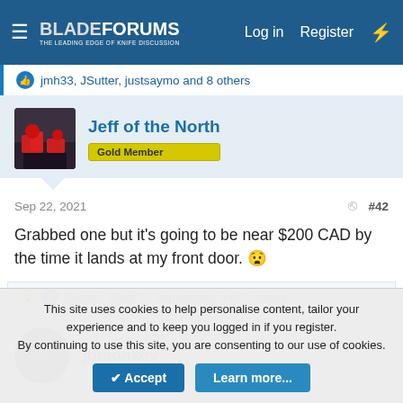BladeForums — The Leading Edge of Knife Discussion | Log in | Register
jmh33, JSutter, justsaymo and 8 others
Jeff of the North
Gold Member
Sep 22, 2021  #42
Grabbed one but it's going to be near $200 CAD by the time it lands at my front door. 😧
JSutter, Scott J., Vaporstang and 4 others
jbmonkey
This site uses cookies to help personalise content, tailor your experience and to keep you logged in if you register.
By continuing to use this site, you are consenting to our use of cookies.